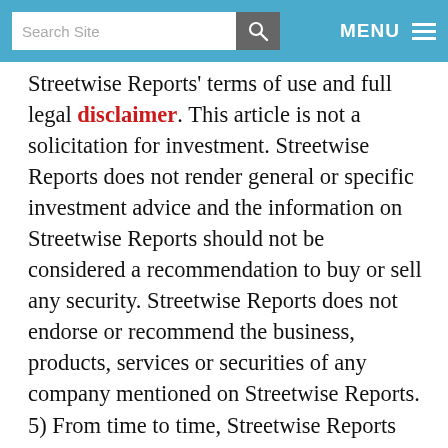Search Site | MENU
Streetwise Reports' terms of use and full legal disclaimer. This article is not a solicitation for investment. Streetwise Reports does not render general or specific investment advice and the information on Streetwise Reports should not be considered a recommendation to buy or sell any security. Streetwise Reports does not endorse or recommend the business, products, services or securities of any company mentioned on Streetwise Reports.
5) From time to time, Streetwise Reports LLC and its directors, officers, employees or members of their families, as well as persons interviewed for articles and interviews on the